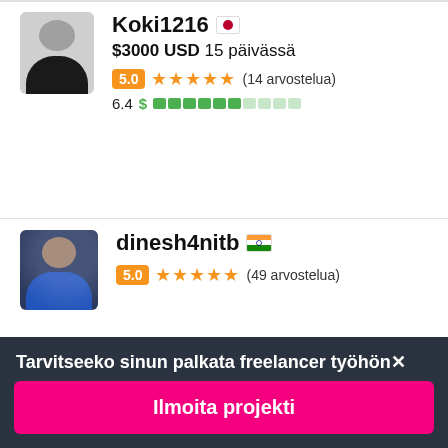[Figure (photo): Profile avatar photo of Koki1216, a person in dark suit, Japanese freelancer]
Koki1216 🇯🇵
$3000 USD 15 päivässä
5.0 ★★★★★ (14 arvostelua)
6.4 $ ▓▓▓▓▓▓░░░░
[Figure (photo): Profile avatar photo of dinesh4nitb, a person in blue shirt, Indian freelancer]
dinesh4nitb 🇮🇳
5.0 ★★★★★ (49 arvostelua)
Tarvitseeko sinun palkata freelancer työhön✕
Ilmoita projekti